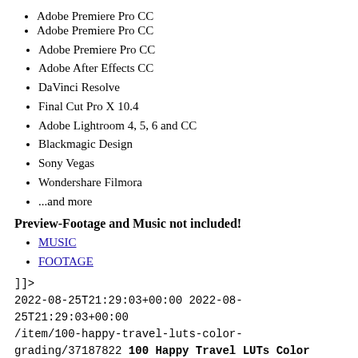Adobe Premiere Pro CC
Adobe After Effects CC
DaVinci Resolve
Final Cut Pro X 10.4
Adobe Lightroom 4, 5, 6 and CC
Blackmagic Design
Sony Vegas
Wondershare Filmora
...and more
Preview-Footage and Music not included!
MUSIC
FOOTAGE
]]>
2022-08-25T21:29:03+00:00 2022-08-25T21:29:03+00:00
/item/100-happy-travel-luts-color-grading/37187822 100 Happy Travel LUTs Color Grading
High-quality LUTS that can be used for videos edits.
PROJECT FEATURES:
100 Happy Travel LUTs
Works with any Resolution and FPS